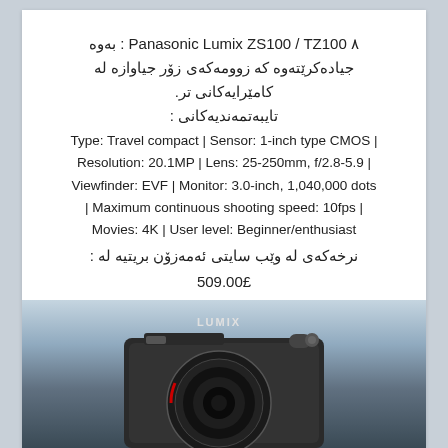٨ Panasonic Lumix ZS100 / TZ100 : بەوە جیادەکرێتەوە کە زوومەکەی زۆر جیاوازە لە کامێرایەکانی تر. تایبەتمەندیەکانی :
Type: Travel compact | Sensor: 1-inch type CMOS | Resolution: 20.1MP | Lens: 25-250mm, f/2.8-5.9 | Viewfinder: EVF | Monitor: 3.0-inch, 1,040,000 dots | Maximum continuous shooting speed: 10fps | Movies: 4K | User level: Beginner/enthusiast
نرخەکەی لە وێب سایتی ئەمەزۆن بریتیە لە : 509.00£
[Figure (photo): Photo of a Panasonic Lumix camera on a surface with blurred background]